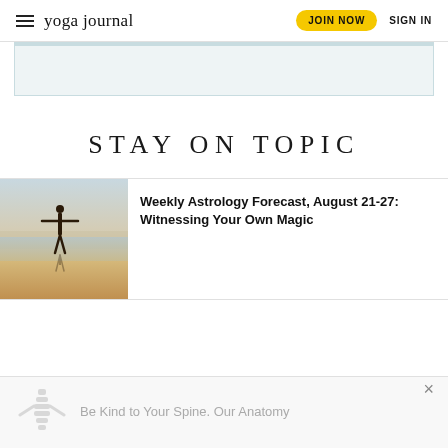yoga journal | JOIN NOW | SIGN IN
[Figure (other): Light blue/teal advertisement placeholder box]
STAY ON TOPIC
[Figure (photo): Person standing on a beach with arms outstretched, silhouetted against a hazy pastel sky and water, golden sandy shore]
Weekly Astrology Forecast, August 21-27: Witnessing Your Own Magic
Be Kind to Your Spine. Our Anatomy...